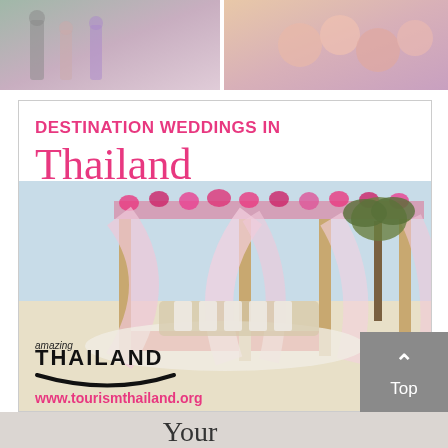[Figure (photo): Two wedding/event photos side by side at top: left shows people in formal wear, right shows decorative pink macarons or cookies.]
[Figure (illustration): Advertisement for Destination Weddings in Thailand by Tourism Thailand. Features pink 'DESTINATION WEDDINGS IN' text, large pink 'Thailand' serif heading, a background photo of an outdoor wedding pavilion draped in pink and white fabric with floral garlands on a beach, the Amazing Thailand logo with smile arc, and website www.tourismthailand.org in pink.]
Your
Wedding
Planning